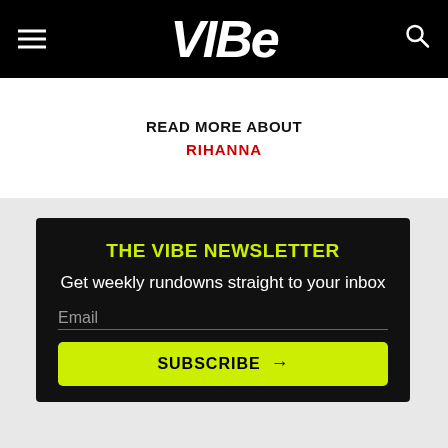VIBE
READ MORE ABOUT
RIHANNA
THE VIBE NEWSLETTER
Get weekly rundowns straight to your inbox
Email
SUBSCRIBE →